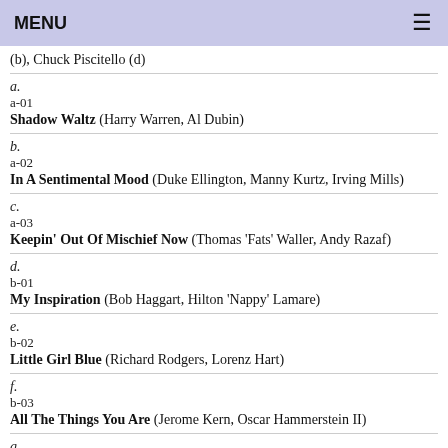MENU
(b), Chuck Piscitello (d)
a.
a-01
Shadow Waltz (Harry Warren, Al Dubin)
b.
a-02
In A Sentimental Mood (Duke Ellington, Manny Kurtz, Irving Mills)
c.
a-03
Keepin' Out Of Mischief Now (Thomas 'Fats' Waller, Andy Razaf)
d.
b-01
My Inspiration (Bob Haggart, Hilton 'Nappy' Lamare)
e.
b-02
Little Girl Blue (Richard Rodgers, Lorenz Hart)
f.
b-03
All The Things You Are (Jerome Kern, Oscar Hammerstein II)
g.